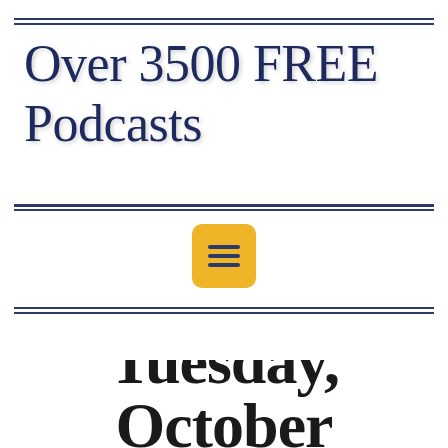Over 3500 FREE Podcasts
[Figure (other): Yellow rounded square menu/hamburger icon with three horizontal dark navy lines]
Tuesday, October